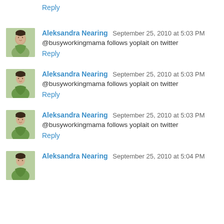Reply
Aleksandra Nearing  September 25, 2010 at 5:03 PM
@busyworkingmama follows yoplait on twitter
Reply
Aleksandra Nearing  September 25, 2010 at 5:03 PM
@busyworkingmama follows yoplait on twitter
Reply
Aleksandra Nearing  September 25, 2010 at 5:03 PM
@busyworkingmama follows yoplait on twitter
Reply
Aleksandra Nearing  September 25, 2010 at 5:04 PM